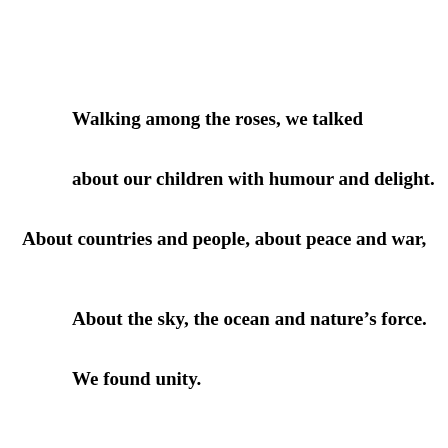Walking among the roses, we talked
about our children with humour and delight.
About countries and people, about peace and war,
About the sky, the ocean and nature’s force.
We found unity.